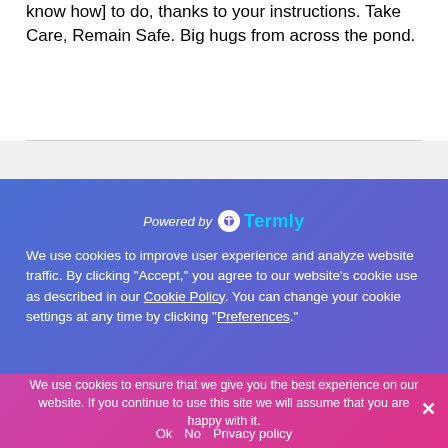know how] to do, thanks to your instructions. Take Care, Remain Safe. Big hugs from across the pond.
Powered by Termly
We use cookies to improve user experience and analyze website traffic. By clicking “Accept,” you agree to our website's cookie use as described in our Cookie Policy. You can change your cookie settings at any time by clicking “Preferences.”
We use cookies to ensure that we give you the best experience on our website. If you continue to use this site we will assume that you are happy with it.
Ok   No   Privacy policy